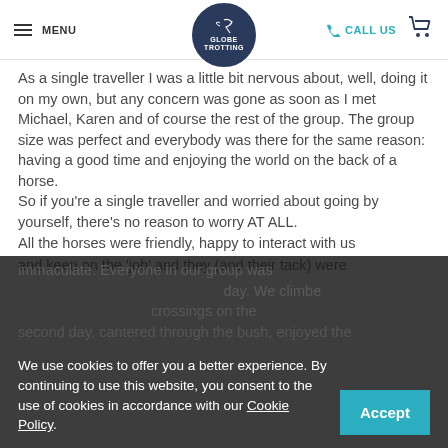MENU | GLOBE TROTTING | CALL US
As a single traveller I was a little bit nervous about, well, doing it on my own, but any concern was gone as soon as I met Michael, Karen and of course the rest of the group. The group size was perfect and everybody was there for the same reason: having a good time and enjoying the world on the back of a horse.
So if you're a single traveller and worried about going by yourself, there's no reason to worry AT ALL.
All the horses were friendly, happy to interact with us and keen on the 'job' and they (and their tack) were immaculate. Everyone in our group was...day. We climbed...crossings on the second day, cantered through the bush, enjoyed the
We use cookies to offer you a better experience. By continuing to use this website, you consent to the use of cookies in accordance with our Cookie Policy.